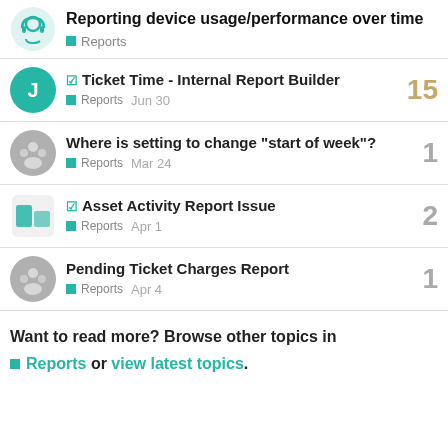Reporting device usage/performance over time — Reports
☑ Ticket Time - Internal Report Builder — Reports — Jun 30 — 15 replies
Where is setting to change "start of week"? — Reports — Mar 24 — 1 reply
☑ Asset Activity Report Issue — Reports — Apr 1 — 2 replies
Pending Ticket Charges Report — Reports — Apr 4 — 1 reply
Want to read more? Browse other topics in Reports or view latest topics.